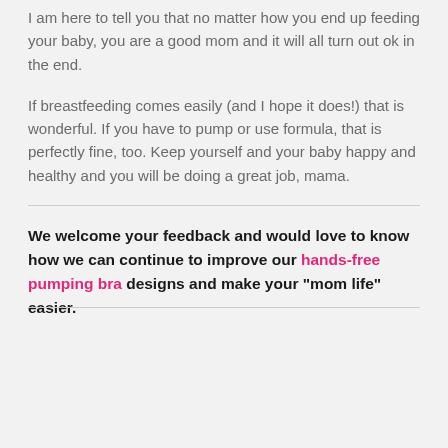I am here to tell you that no matter how you end up feeding your baby, you are a good mom and it will all turn out ok in the end.
If breastfeeding comes easily (and I hope it does!) that is wonderful. If you have to pump or use formula, that is perfectly fine, too. Keep yourself and your baby happy and healthy and you will be doing a great job, mama.
We welcome your feedback and would love to know how we can continue to improve our hands-free pumping bra designs and make your "mom life" easier.